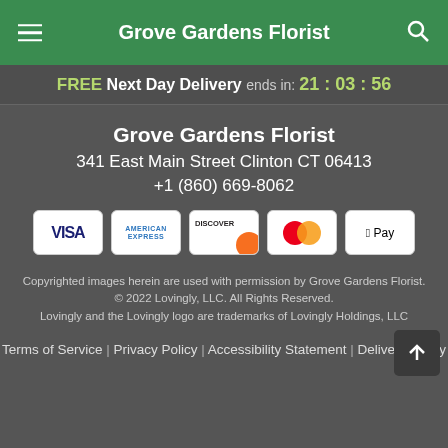Grove Gardens Florist
FREE Next Day Delivery ends in: 21:03:56
Grove Gardens Florist
341 East Main Street Clinton CT 06413
+1 (860) 669-8062
[Figure (infographic): Payment method icons: VISA, American Express, Discover, MasterCard, Apple Pay]
Copyrighted images herein are used with permission by Grove Gardens Florist.
© 2022 Lovingly, LLC. All Rights Reserved.
Lovingly and the Lovingly logo are trademarks of Lovingly Holdings, LLC
Terms of Service | Privacy Policy | Accessibility Statement | Delivery Policy